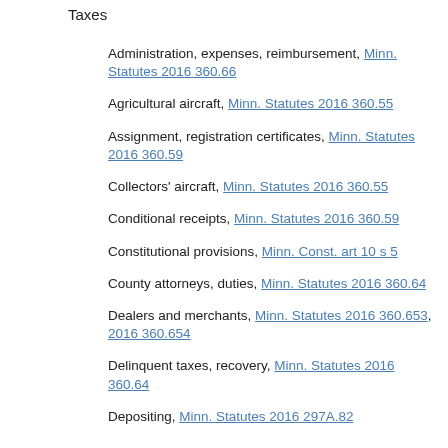Taxes
Administration, expenses, reimbursement, Minn. Statutes 2016 360.66
Agricultural aircraft, Minn. Statutes 2016 360.55
Assignment, registration certificates, Minn. Statutes 2016 360.59
Collectors' aircraft, Minn. Statutes 2016 360.55
Conditional receipts, Minn. Statutes 2016 360.59
Constitutional provisions, Minn. Const. art 10 s 5
County attorneys, duties, Minn. Statutes 2016 360.64
Dealers and merchants, Minn. Statutes 2016 360.653, 2016 360.654
Delinquent taxes, recovery, Minn. Statutes 2016 360.64
Depositing, Minn. Statutes 2016 297A.82